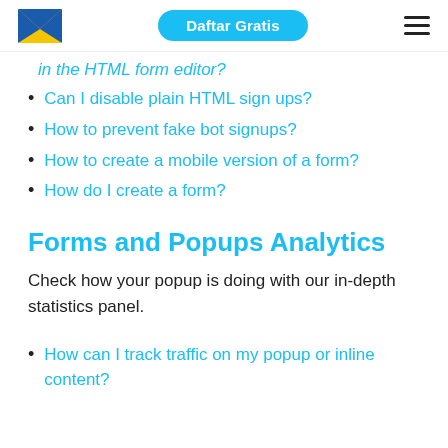Daftar Gratis
in the HTML form editor?
Can I disable plain HTML sign ups?
How to prevent fake bot signups?
How to create a mobile version of a form?
How do I create a form?
Forms and Popups Analytics
Check how your popup is doing with our in-depth statistics panel.
How can I track traffic on my popup or inline content?